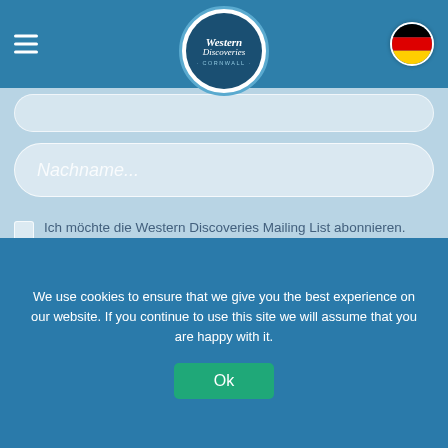Western Discoveries Cornwall - navigation header with logo and German flag
Nachname...
Ich möchte die Western Discoveries Mailing List abonnieren.
SENDEN
Nützliche Links...
We use cookies to ensure that we give you the best experience on our website. If you continue to use this site we will assume that you are happy with it.
Ok